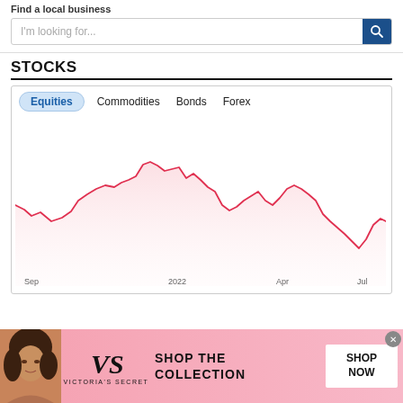Find a local business
I'm looking for...
STOCKS
[Figure (continuous-plot): Stock equities line chart showing market performance from Sep 2021 through Jul 2022. The line is red/pink on a light pink shaded background. The chart shows a rise through late 2021, peaks around early 2022, then a significant decline through mid-2022, with a partial recovery near Jul. Tabs shown: Equities (active), Commodities, Bonds, Forex. X-axis labels: Sep, 2022, Apr, Jul.]
[Figure (photo): Victoria's Secret advertisement banner. Pink gradient background. Left: photo of a woman with curly hair. Center: Victoria's Secret logo (VS) with brand name text. Right: text SHOP THE COLLECTION with SHOP NOW button.]